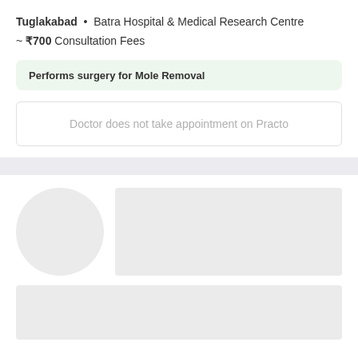Tuglakabad • Batra Hospital & Medical Research Centre
~ ₹700 Consultation Fees
Performs surgery for Mole Removal
Doctor does not take appointment on Practo
[Figure (other): Skeleton loader placeholder: circular avatar placeholder and rectangular content placeholder]
[Figure (other): Skeleton loader placeholder: wide rectangular content placeholder]